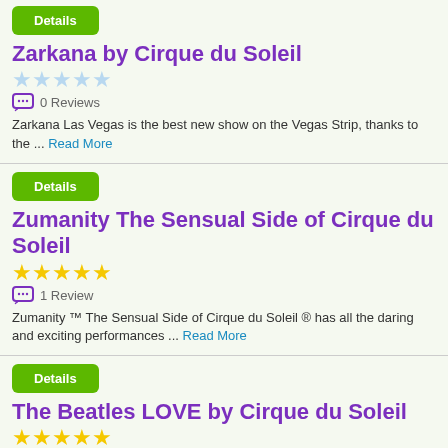Details
Zarkana by Cirque du Soleil
[Figure (other): 5 star rating icons (empty/light blue stars)]
0 Reviews
Zarkana Las Vegas is the best new show on the Vegas Strip, thanks to the ... Read More
Details
Zumanity The Sensual Side of Cirque du Soleil
[Figure (other): 5 star rating icons (filled yellow stars)]
1 Review
Zumanity ™ The Sensual Side of Cirque du Soleil ® has all the daring and exciting performances ... Read More
Details
The Beatles LOVE by Cirque du Soleil
[Figure (other): 5 star rating icons (filled yellow stars)]
6 Reviews